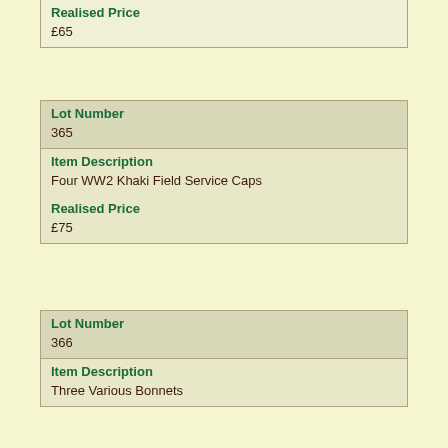| Realised Price |
| --- |
| £65 |
| Lot Number | 365 |
| --- | --- |
| Item Description | Four WW2 Khaki Field Service Caps |
| Realised Price | £75 |
| Lot Number | 366 |
| --- | --- |
| Item Description | Three Various Bonnets |